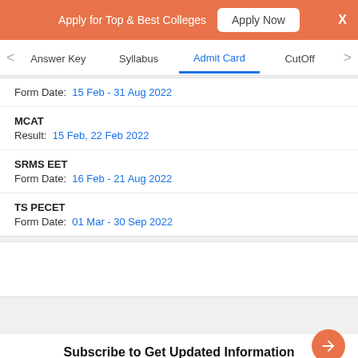Apply for Top & Best Colleges  Apply Now  X
Answer Key  Syllabus  Admit Card  CutOff
Form Date: 15 Feb - 31 Aug 2022
MCAT
Result: 15 Feb, 22 Feb 2022
SRMS EET
Form Date: 16 Feb - 21 Aug 2022
TS PECET
Form Date: 01 Mar - 30 Sep 2022
Subscribe to Get Updated Information